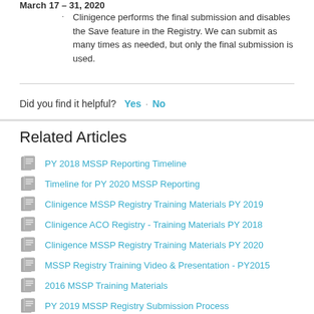March 17 – 31, 2020
Clinigence performs the final submission and disables the Save feature in the Registry.  We can submit as many times as needed, but only the final submission is used.
Did you find it helpful?  Yes   No
Related Articles
PY 2018 MSSP Reporting Timeline
Timeline for PY 2020 MSSP Reporting
Clinigence MSSP Registry Training Materials PY 2019
Clinigence ACO Registry - Training Materials PY 2018
Clinigence MSSP Registry Training Materials PY 2020
MSSP Registry Training Video & Presentation - PY2015
2016 MSSP Training Materials
PY 2019 MSSP Registry Submission Process
Diabetes - Flu Vaccine, 2019
Immunization - Flu Vaccine, 2019